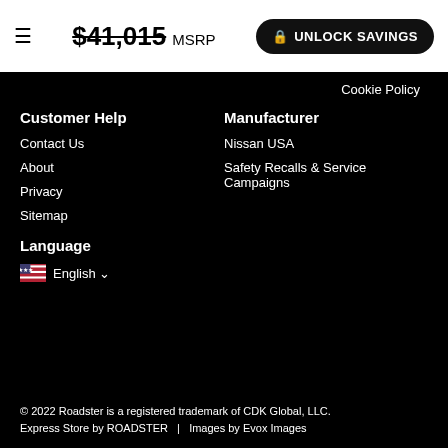$41,015 MSRP  UNLOCK SAVINGS
Cookie Policy
Customer Help
Contact Us
About
Privacy
Sitemap
Manufacturer
Nissan USA
Safety Recalls & Service Campaigns
Language
English
© 2022 Roadster is a registered trademark of CDK Global, LLC. Express Store by ROADSTER  |  Images by Evox Images